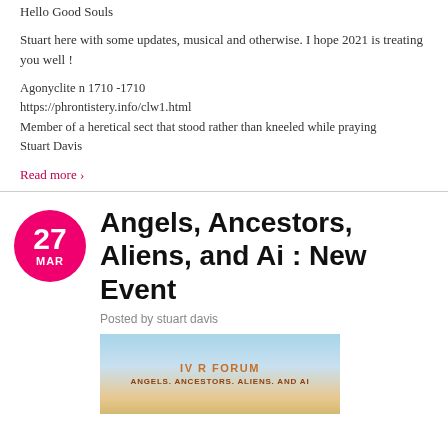Hello Good Souls
Stuart here with some updates, musical and otherwise. I hope 2021 is treating you well !
Agonyclite n 1710 -1710
https://phrontistery.info/clw1.html
Member of a heretical sect that stood rather than kneeled while praying
Stuart Davis
Read more ›
Angels, Ancestors, Aliens, and Ai : New Event
Posted by stuart davis
[Figure (photo): Event promotional image with gradient sky background showing 'IV R FORUM' and 'ANGELS. ANCESTORS. ALIENS. AND AI' text in orange/brown colors]